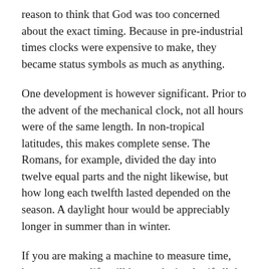reason to think that God was too concerned about the exact timing. Because in pre-industrial times clocks were expensive to make, they became status symbols as much as anything.
One development is however significant. Prior to the advent of the mechanical clock, not all hours were of the same length. In non-tropical latitudes, this makes complete sense. The Romans, for example, divided the day into twelve equal parts and the night likewise, but how long each twelfth lasted depended on the season. A daylight hour would be appreciably longer in summer than in winter.
If you are making a machine to measure time, however, your life will be much simpler if all the hours are the same length. Simpler for the clock-maker, perhaps, but no so much for its users, for whom the motion of the sun in the sky tends to diverge from the time on the dial. The resulting inconvenience